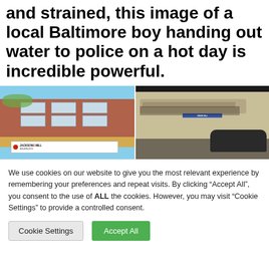and strained, this image of a local Baltimore boy handing out water to police on a hot day is incredible powerful.
[Figure (photo): Two side-by-side street photos from Baltimore. Left: a red brick multi-story building with a Jackson & Will sign at street level. Right: a beige/concrete building facade with graffiti and a dark vehicle.]
We use cookies on our website to give you the most relevant experience by remembering your preferences and repeat visits. By clicking "Accept All", you consent to the use of ALL the cookies. However, you may visit "Cookie Settings" to provide a controlled consent.